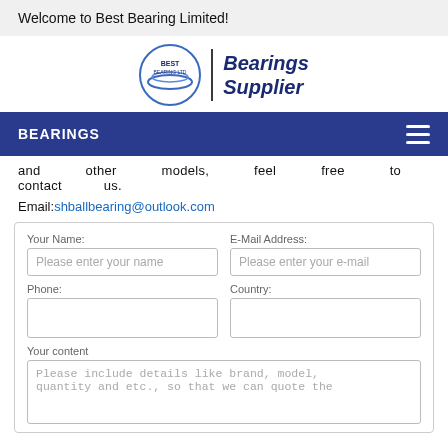Welcome to Best Bearing Limited!
[Figure (logo): Best Bearing Ltd logo with circular emblem and 'Bearings Supplier' text]
BEARINGS
and other models, feel free to contact us.
Email: shballbearing@outlook.com
Contact form with fields: Your Name, E-Mail Address, Phone, Country, Your content. Textarea placeholder: Please include details like brand, model, quantity and etc., so that we can quote the